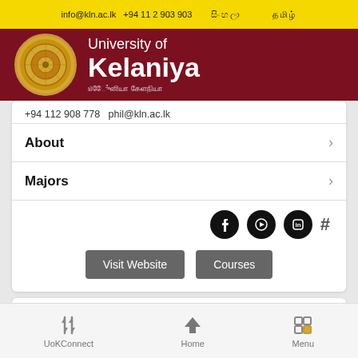info@kln.ac.lk  +94 11 2 903 903
[Figure (logo): University of Kelaniya logo with circular emblem and university name in English and Sinhala/Tamil on dark red background]
+94 112 908 778  phil@kln.ac.lk
About
Majors
Social icons: Facebook, YouTube, LinkedIn, #
Visit Website   Courses
UoKConnect   Home   Menu